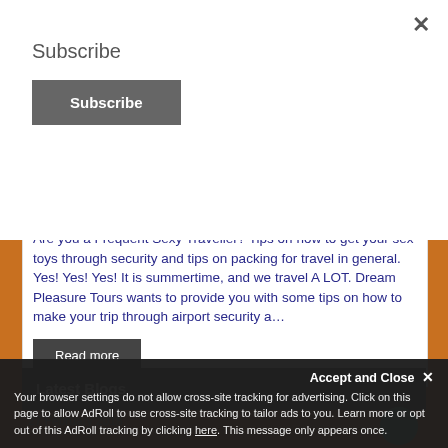Subscribe
Subscribe
Are you a Frequent Sexy Traveller? Tips on how to get your sex toys through security and tips on packing for travel in general. Yes! Yes! Yes! It is summertime, and we travel A LOT. Dream Pleasure Tours wants to provide you with some tips on how to make your trip through airport security a...
Read more
Latest Blogs
27 February 2018
Accept and Close ×
Your browser settings do not allow cross-site tracking for advertising. Click on this page to allow AdRoll to use cross-site tracking to tailor ads to you. Learn more or opt out of this AdRoll tracking by clicking here. This message only appears once.